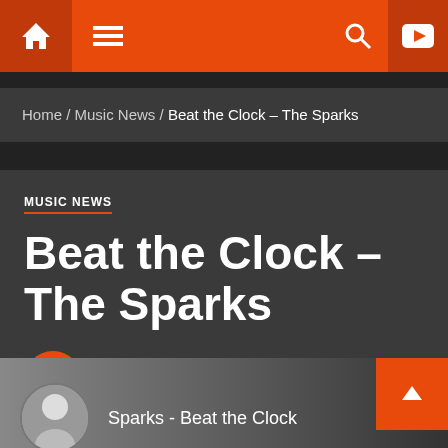Navigation bar with home, menu, search, and YouTube icons
Home / Music News / Beat the Clock – The Sparks
MUSIC NEWS
Beat the Clock – The Sparks
Sparks - Beat the Clock